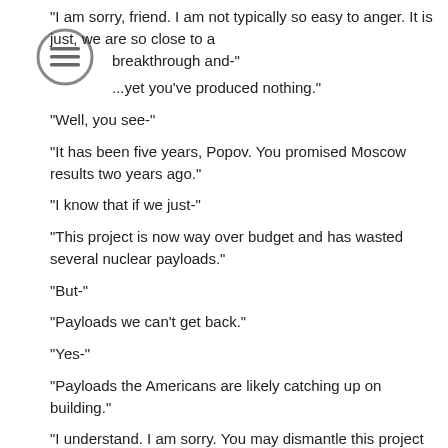[Figure (other): Circular hamburger menu icon (three horizontal lines inside a circle)]
"I am sorry, friend. I am not typically so easy to anger. It is just, we are so close to a breakthrough and-"
"...yet you've produced nothing."
"Well, you see-"
"It has been five years, Popov. You promised Moscow results two years ago."
"I know that if we just-"
"This project is now way over budget and has wasted several nuclear payloads."
"But-"
"Payloads we can't get back."
"Yes-"
"Payloads the Americans are likely catching up on building."
"I understand. I am sorry. You may dismantle this project if you see fit."
There was another brief silence. The thinly mustached man put out his cigarette against the concrete wall and let it fall to the floor.
"You misunderstand, Popov."
"Oh?"
"The state isn't interested in abandoning this project."